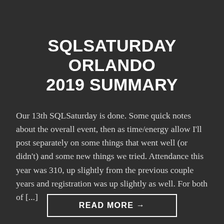SQLSATURDAY ORLANDO 2019 SUMMARY
Our 13th SQLSaturday is done. Some quick notes about the overall event, then as time/energy allow I'll post separately on some things that went well (or didn't) and some new things we tried. Attendance this year was 310, up slightly from the previous couple years and registration was up slightly as well. For both of [...]
READ MORE →